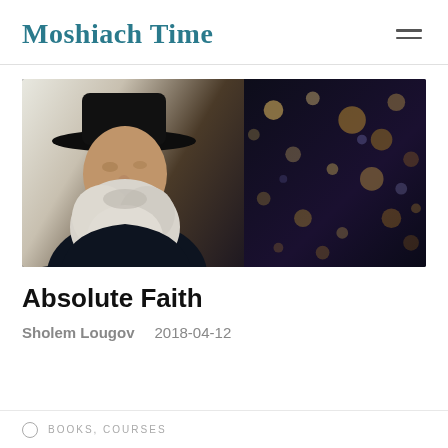Moshiach Time
[Figure (photo): Photo of an elderly rabbi with a long white beard and black hat, looking upward and to the right. Background shows bokeh lights on a dark right side and a lighter left side.]
Absolute Faith
Sholem Lougov   2018-04-12
BOOKS, COURSES